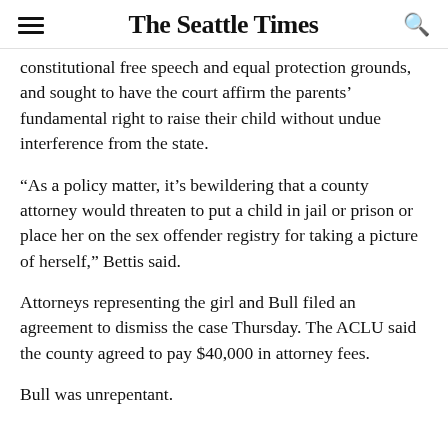The Seattle Times
constitutional free speech and equal protection grounds, and sought to have the court affirm the parents’ fundamental right to raise their child without undue interference from the state.
“As a policy matter, it’s bewildering that a county attorney would threaten to put a child in jail or prison or place her on the sex offender registry for taking a picture of herself,” Bettis said.
Attorneys representing the girl and Bull filed an agreement to dismiss the case Thursday. The ACLU said the county agreed to pay $40,000 in attorney fees.
Bull was unrepentant.